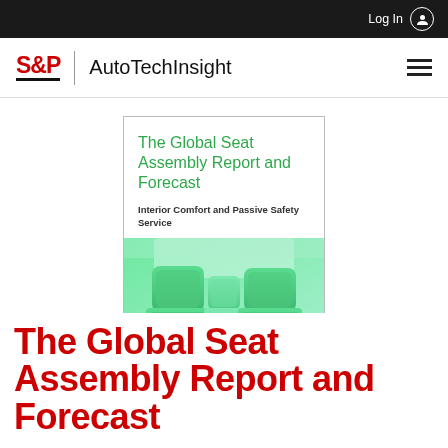Log In
[Figure (logo): S&P Global | AutoTechInsight brand logo with hamburger menu]
[Figure (illustration): Book cover for 'The Global Seat Assembly Report and Forecast — Interior Comfort and Passive Safety Service' showing car interior seats with green tint]
The Global Seat Assembly Report and Forecast